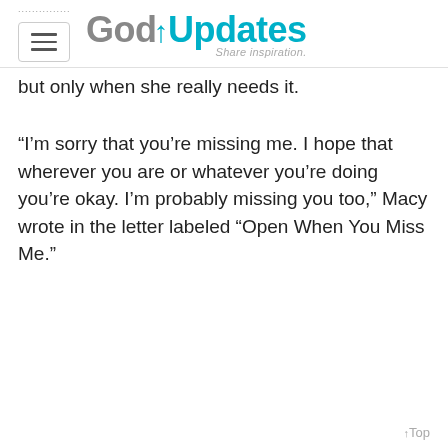GodUpdates — Share inspiration.
but only when she really needs it.
“I’m sorry that you’re missing me. I hope that wherever you are or whatever you’re doing you’re okay. I’m probably missing you too,” Macy wrote in the letter labeled “Open When You Miss Me.”
↑Top